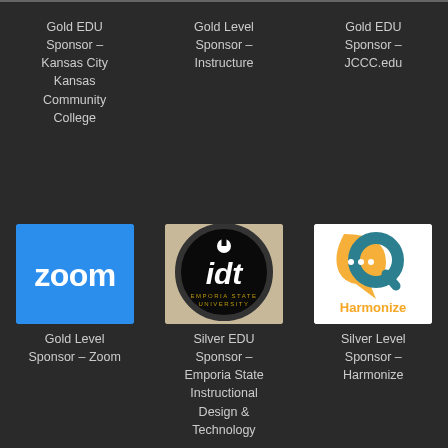Gold EDU Sponsor – Kansas City Kansas Community College
Gold Level Sponsor – Instructure
Gold EDU Sponsor – JCCC.edu
[Figure (logo): Zoom logo – white text 'zoom' on blue background]
[Figure (logo): IDT Emporia State University logo – circular badge with 'idt' letters and gear design on dark background]
[Figure (logo): Harmonize logo – orange speech bubble with dots and teal Q-shape, orange text 'Harmonize' on white background]
Gold Level Sponsor – Zoom
Silver EDU Sponsor – Emporia State Instructional Design & Technology
Silver Level Sponsor – Harmonize